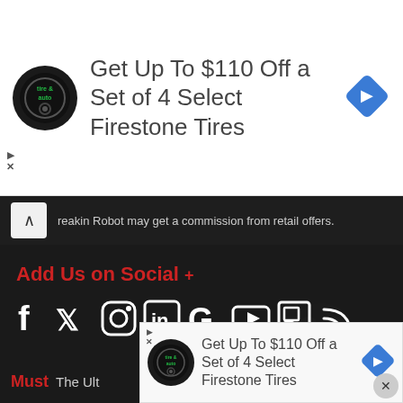[Figure (screenshot): Advertisement banner: Firestone Tires logo (black circle) and text 'Get Up To $110 Off a Set of 4 Select Firestone Tires' with a blue diamond navigation icon on the right]
reakin Robot may get a commission from retail offers.
Add Us on Social +
[Figure (illustration): Row of social media icons: Facebook, Twitter, Instagram, LinkedIn, Google, YouTube, Flipboard, RSS feed — all white on dark background]
Who We Are +
About Us
Privacy Policy
Contact Us
Careers
Must
The Ult
[Figure (screenshot): Bottom advertisement banner: Firestone Tires circular logo, text 'Get Up To $110 Off a Set of 4 Select Firestone Tires', blue diamond navigation icon, and a close (X) button]